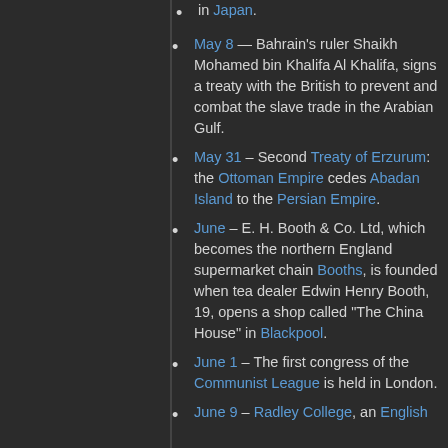in Japan.
May 8 — Bahrain's ruler Shaikh Mohamed bin Khalifa Al Khalifa, signs a treaty with the British to prevent and combat the slave trade in the Arabian Gulf.
May 31 – Second Treaty of Erzurum: the Ottoman Empire cedes Abadan Island to the Persian Empire.
June – E. H. Booth & Co. Ltd, which becomes the northern England supermarket chain Booths, is founded when tea dealer Edwin Henry Booth, 19, opens a shop called "The China House" in Blackpool.
June 1 – The first congress of the Communist League is held in London.
June 9 – Radley College, an English